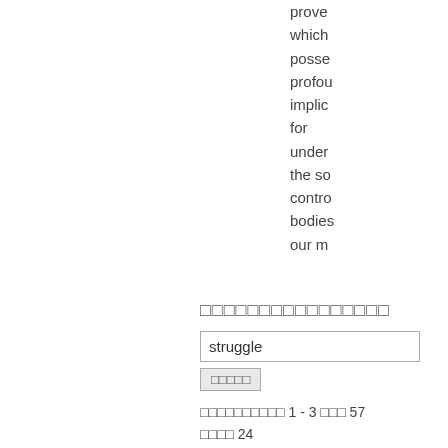prove which posse profou implic for under the so contro bodies our m
□□□□□□□□□□□□□□□□
struggle
□□□□□
□□□□□□□□□□ 1 - 3 □□□ 57 □□□□ 24
a 2 learned that the struggle against the penal apparatus